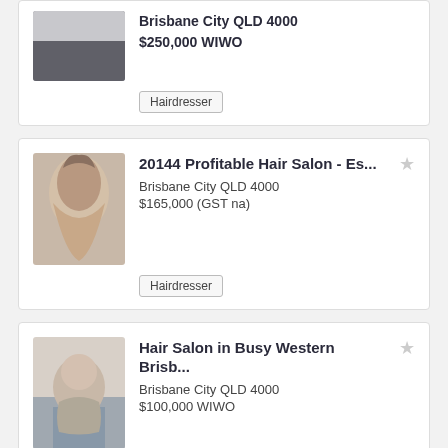[Figure (photo): Hair salon interior photo, partial view at top of page]
$250,000 WIWO
Hairdresser
20144 Profitable Hair Salon - Es...
Brisbane City QLD 4000
$165,000 (GST na)
Hairdresser
Hair Salon in Busy Western Brisb...
Brisbane City QLD 4000
$100,000 WIWO
Hairdresser
High Performing Hair and Beaut...